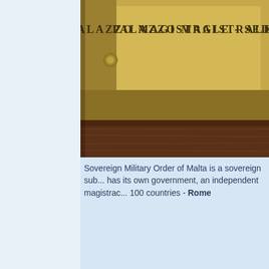[Figure (photo): Close-up photograph of a brass plaque mounted on a wall, partially visible. The plaque reads 'PALAZZO MAGISTRALE - SEDE...' in raised capital letters. The lower portion shows a dark wooden or stone surface.]
Sovereign Military Order of Malta is a sovereign sub... has its own government, an independent magistrac... 100 countries - Rome